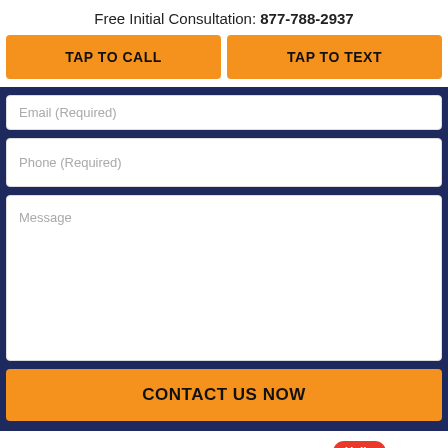Free Initial Consultation: 877-788-2937
TAP TO CALL
TAP TO TEXT
Email (Required)
Phone (Required)
Message
CONTACT US NOW
Hello
Back Tax Help / Services